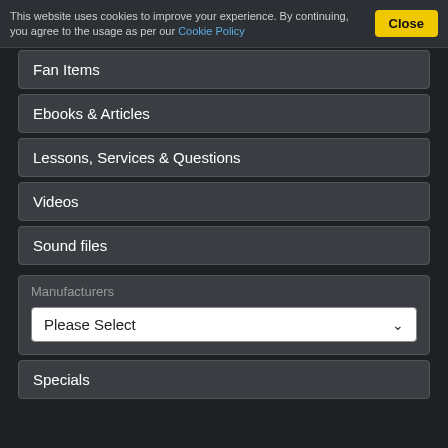This website uses cookies to improve your experience. By continuing, you agree to the usage as per our Cookie Policy
Fan Items
Ebooks & Articles
Lessons, Services & Questions
Videos
Sound files
Manufacturers
Please Select
Specials